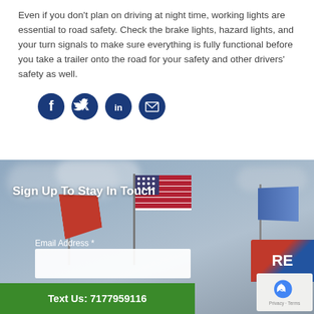Even if you don't plan on driving at night time, working lights are essential to road safety. Check the brake lights, hazard lights, and your turn signals to make sure everything is fully functional before you take a trailer onto the road for your safety and other drivers' safety as well.
[Figure (infographic): Social media sharing icons: Facebook, Twitter, LinkedIn, and email/envelope icons, all in dark navy blue circles.]
[Figure (photo): Background photo of flags against a cloudy sky with a sign partially visible, overlaid with a sign-up form section.]
Sign Up To Stay In Touch
Email Address *
Text Us: 7177959116